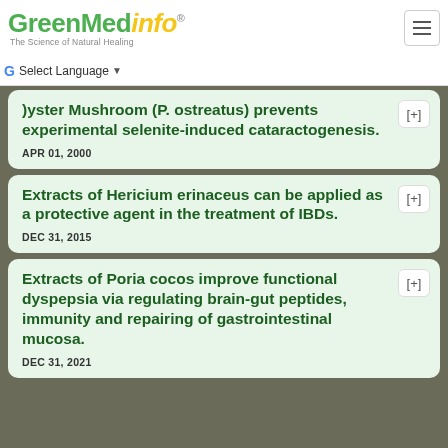GreenMedInfo - The Science of Natural Healing
Select Language
Oyster Mushroom (P. ostreatus) prevents experimental selenite-induced cataractogenesis.
APR 01, 2000
Extracts of Hericium erinaceus can be applied as a protective agent in the treatment of IBDs.
DEC 31, 2015
Extracts of Poria cocos improve functional dyspepsia via regulating brain-gut peptides, immunity and repairing of gastrointestinal mucosa.
DEC 31, 2021